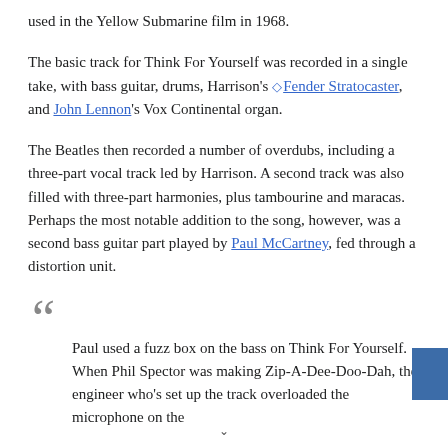used in the Yellow Submarine film in 1968.
The basic track for Think For Yourself was recorded in a single take, with bass guitar, drums, Harrison's ◇ Fender Stratocaster, and John Lennon's Vox Continental organ.
The Beatles then recorded a number of overdubs, including a three-part vocal track led by Harrison. A second track was also filled with three-part harmonies, plus tambourine and maracas. Perhaps the most notable addition to the song, however, was a second bass guitar part played by Paul McCartney, fed through a distortion unit.
Paul used a fuzz box on the bass on Think For Yourself. When Phil Spector was making Zip-A-Dee-Doo-Dah, the engineer who's set up the track overloaded the microphone on the